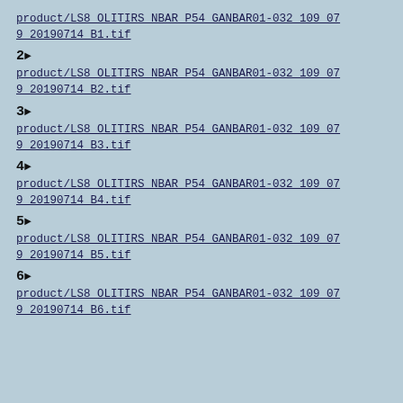product/LS8_OLITIRS_NBAR_P54_GANBAR01-032_109_079_20190714_B1.tif
2▶
product/LS8_OLITIRS_NBAR_P54_GANBAR01-032_109_079_20190714_B2.tif
3▶
product/LS8_OLITIRS_NBAR_P54_GANBAR01-032_109_079_20190714_B3.tif
4▶
product/LS8_OLITIRS_NBAR_P54_GANBAR01-032_109_079_20190714_B4.tif
5▶
product/LS8_OLITIRS_NBAR_P54_GANBAR01-032_109_079_20190714_B5.tif
6▶
product/LS8_OLITIRS_NBAR_P54_GANBAR01-032_109_079_20190714_B6.tif